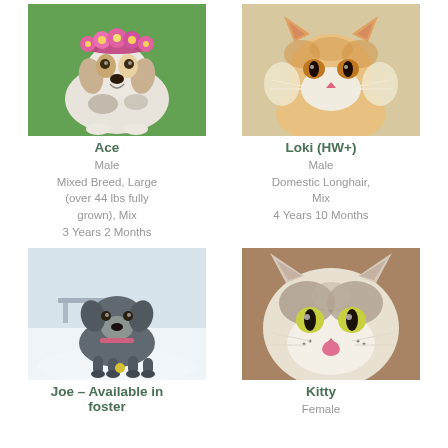[Figure (photo): Dog named Ace wearing pink flower crown, lying on green turf, white and brown mixed breed]
Ace
Male
Mixed Breed, Large (over 44 lbs fully grown), Mix
3 Years 2 Months
[Figure (photo): Orange and white fluffy cat named Loki (HW+), looking at camera with amber eyes]
Loki (HW+)
Male
Domestic Longhair, Mix
4 Years 10 Months
[Figure (photo): Gray and black dog named Joe standing in snow, available in foster]
Joe – Available in foster
[Figure (photo): Brown and white cat named Kitty licking its nose, yellow-green eyes]
Kitty
Female